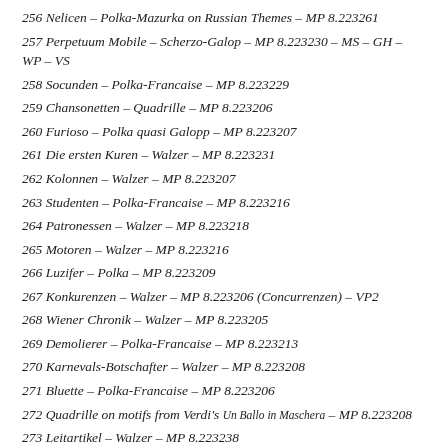256 Nelicen – Polka-Mazurka on Russian Themes – MP 8.223261
257 Perpetuum Mobile – Scherzo-Galop – MP 8.223230 – MS – GH – WP – VS
258 Socunden – Polka-Francaise – MP 8.223229
259 Chansonetten – Quadrille – MP 8.223206
260 Furioso – Polka quasi Galopp – MP 8.223207
261 Die ersten Kuren – Walzer – MP 8.223231
262 Kolonnen – Walzer – MP 8.223207
263 Studenten – Polka-Francaise – MP 8.223216
264 Patronessen – Walzer – MP 8.223218
265 Motoren – Walzer – MP 8.223216
266 Luzifer – Polka – MP 8.223209
267 Konkurenzen – Walzer – MP 8.223206 (Concurrenzen) – VP2
268 Wiener Chronik – Walzer – MP 8.223205
269 Demolierer – Polka-Francaise – MP 8.223213
270 Karnevals-Botschafter – Walzer – MP 8.223208
271 Bluette – Polka-Francaise – MP 8.223206
272 Quadrille on motifs from Verdi's Un Ballo in Maschera – MP 8.223208
273 Leitartikel – Walzer – MP 8.223238
274 Patdoten – Polka – MP 8.223211
275 Lieder Quadrille – MP 8.223210
276 Bauern – Polka-Francaise – MP 8.223210